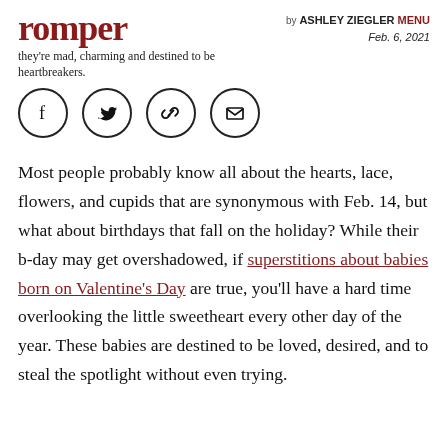romper
they're mad, charming and destined to be heartbreakers.
by ASHLEY ZIEGLER MENU
Feb. 6, 2021
[Figure (other): Social share buttons: Facebook, Twitter, link/chain, email (envelope) — four circular icon buttons in a row]
Most people probably know all about the hearts, lace, flowers, and cupids that are synonymous with Feb. 14, but what about birthdays that fall on the holiday? While their b-day may get overshadowed, if superstitions about babies born on Valentine's Day are true, you'll have a hard time overlooking the little sweetheart every other day of the year. These babies are destined to be loved, desired, and to steal the spotlight without even trying.